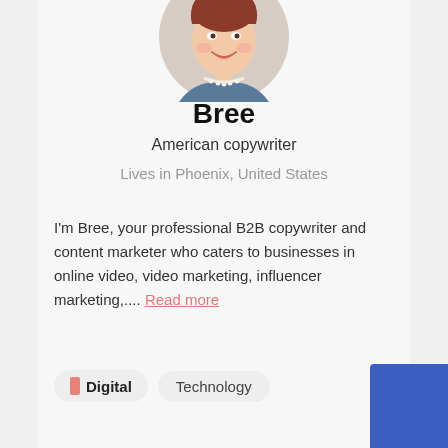[Figure (photo): Circular avatar photo of a woman with red hair, wearing a pearl necklace, smiling]
Bree
American copywriter
Lives in Phoenix, United States
I'm Bree, your professional B2B copywriter and content marketer who caters to businesses in online video, video marketing, influencer marketing,.... Read more
Digital
Technology